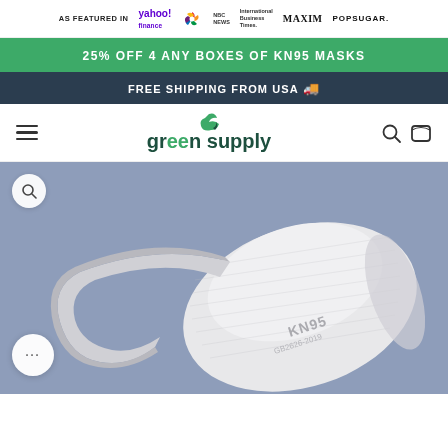AS FEATURED IN  yahoo! finance  NBC NEWS  International Business Times  MAXIM  POPSUGAR.
25% OFF 4 ANY BOXES OF KN95 MASKS
FREE SHIPPING FROM USA 🚚
[Figure (logo): Green Supply logo with green leaf icon, green and dark teal text reading 'green supply']
[Figure (photo): White KN95 face mask on a blue-grey background, showing ear loops and the cup-shaped mask body with dotted texture and KN95 text]